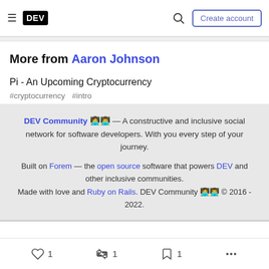DEV — Create account
More from Aaron Johnson
Pi - An Upcoming Cryptocurrency
#cryptocurrency #intro
DEV Community 👩‍💻👨‍💻 — A constructive and inclusive social network for software developers. With you every step of your journey.

Built on Forem — the open source software that powers DEV and other inclusive communities.
Made with love and Ruby on Rails. DEV Community 👩‍💻👨‍💻 © 2016 - 2022.
♡ 1  〽 1  🔖 1  ...